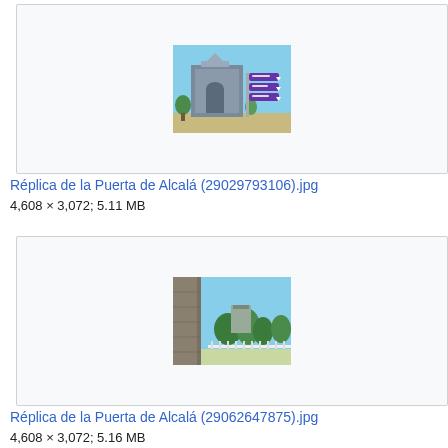[Figure (photo): Thumbnail of Réplica de la Puerta de Alcalá showing a gothic-style building with a purple directional sign post in front, blue sky background]
Réplica de la Puerta de Alcalá (29029793106).jpg
4,608 × 3,072; 5.11 MB
[Figure (photo): Thumbnail of Réplica de la Puerta de Alcalá showing a stone column in foreground, trees and monument visible in background, blue sky]
Réplica de la Puerta de Alcalá (29062647875).jpg
4,608 × 3,072; 5.16 MB